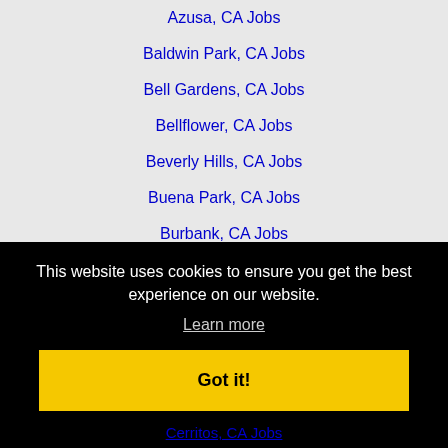Azusa, CA Jobs
Baldwin Park, CA Jobs
Bell Gardens, CA Jobs
Bellflower, CA Jobs
Beverly Hills, CA Jobs
Buena Park, CA Jobs
Burbank, CA Jobs
Camarillo, CA Jobs
Carlsbad, CA Jobs
Carson, CA Jobs
This website uses cookies to ensure you get the best experience on our website.
Learn more
Got it!
Cerritos, CA Jobs